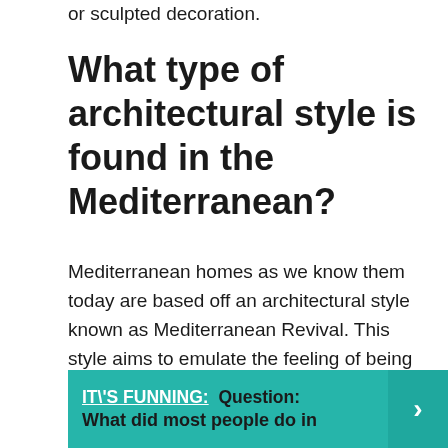or sculpted decoration.
What type of architectural style is found in the Mediterranean?
Mediterranean homes as we know them today are based off an architectural style known as Mediterranean Revival. This style aims to emulate the feeling of being in a luxurious Mediterranean villa. It became popularized during the 1920s when a cultural obsession with wealth and leisure led to a boom in seaside resorts.
IT\'S FUNNING:  Question: What did most people do in